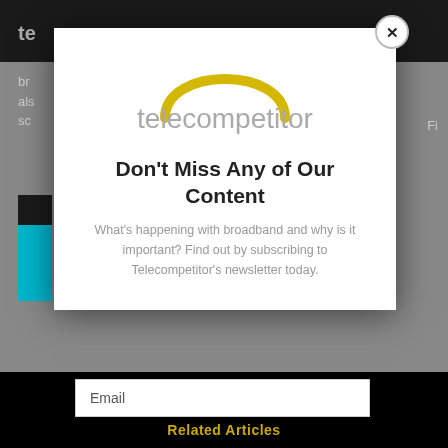[Figure (screenshot): Telecompetitor website with modal popup overlay. Background shows dark header bar with partial logo, gray content area with partial article text, and black footer with 'Related Articles' heading. Modal contains Telecompetitor logo, heading 'Don't Miss Any of Our Content', subtext about subscribing to newsletter, and email input field. A close button (X) appears in top-right of modal.]
Don't Miss Any of Our Content
What's happening with broadband and why is it important? Find out by subscribing to Telecompetitor's newsletter today.